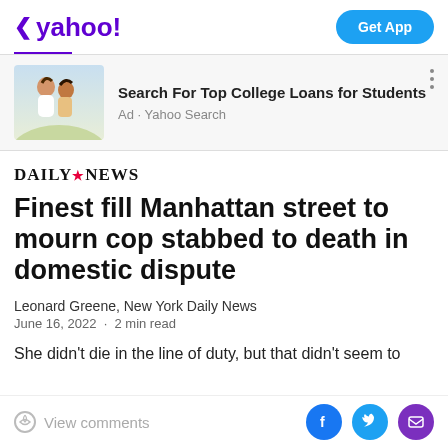< yahoo!  Get App
[Figure (photo): Ad banner with photo of two young women laughing outdoors, alongside text 'Search For Top College Loans for Students' and 'Ad · Yahoo Search']
DAILY NEWS
Finest fill Manhattan street to mourn cop stabbed to death in domestic dispute
Leonard Greene, New York Daily News
June 16, 2022  ·  2 min read
She didn't die in the line of duty, but that didn't seem to
View comments  [Facebook] [Twitter] [Mail]